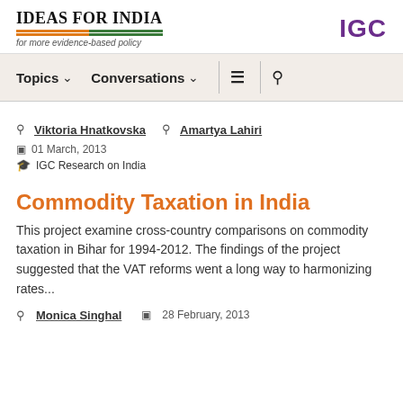IDEAS FOR INDIA / for more evidence-based policy / IGC
[Figure (logo): IDEAS FOR INDIA logo with tagline 'for more evidence-based policy' and IGC logo in purple]
[Figure (screenshot): Navigation bar with Topics, Conversations dropdowns, hamburger menu, and search icon]
Viktoria Hnatkovska  Amartya Lahiri
01 March, 2013
IGC Research on India
Commodity Taxation in India
This project examine cross-country comparisons on commodity taxation in Bihar for 1994-2012. The findings of the project suggested that the VAT reforms went a long way to harmonizing rates...
Monica Singhal  28 February, 2013